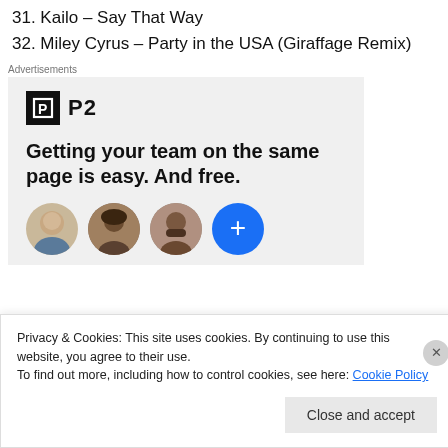31. Kailo – Say That Way
32. Miley Cyrus – Party in the USA (Giraffage Remix)
[Figure (screenshot): Advertisement for P2 – a team collaboration tool. Shows the P2 logo (black square with letter P icon and 'P2' text), headline 'Getting your team on the same page is easy. And free.', and a row of three person avatar photos plus a blue circle with a plus sign.]
Privacy & Cookies: This site uses cookies. By continuing to use this website, you agree to their use.
To find out more, including how to control cookies, see here: Cookie Policy